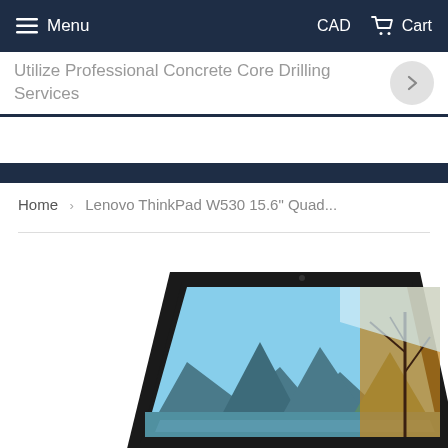Menu   CAD   Cart
Utilize Professional Concrete Core Drilling Services
Home › Lenovo ThinkPad W530 15.6" Quad...
[Figure (photo): Lenovo ThinkPad W530 15.6-inch laptop computer shown at an angle, open with a landscape wallpaper on screen depicting mountains, lake, and trees. The laptop is black with a full keyboard visible.]